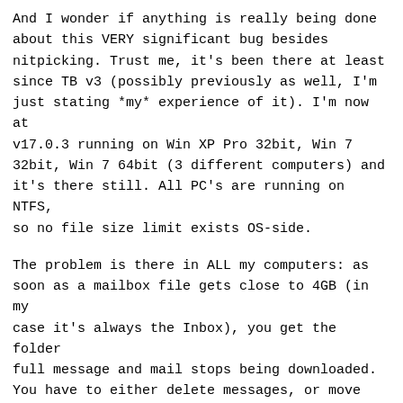And I wonder if anything is really being done about this VERY significant bug besides nitpicking. Trust me, it's been there at least since TB v3 (possibly previously as well, I'm just stating *my* experience of it). I'm now at v17.0.3 running on Win XP Pro 32bit, Win 7 32bit, Win 7 64bit (3 different computers) and it's there still. All PC's are running on NTFS, so no file size limit exists OS-side.
The problem is there in ALL my computers: as soon as a mailbox file gets close to 4GB (in my case it's always the Inbox), you get the folder full message and mail stops being downloaded. You have to either delete messages, or move some to another folder and compact; the file size drops, you hit Get Mail and everything works fine. Until it gets to 4GB again.
I often come across this issue as my (main